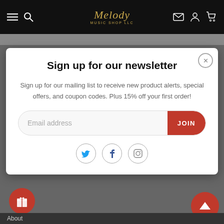Melody Music Shop LLC
Sign up for our newsletter
Sign up for our mailing list to receive new product alerts, special offers, and coupon codes. Plus 15% off your first order!
Email address  JOIN
[Figure (screenshot): Social media icons: Twitter, Facebook, Instagram]
About